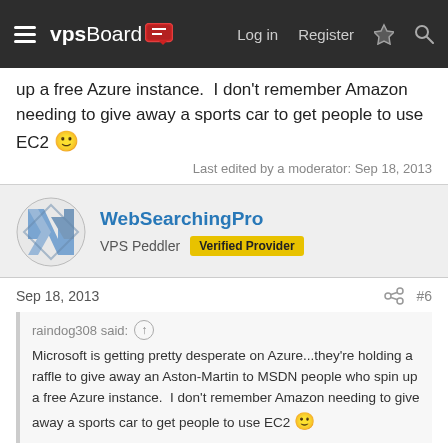vpsBoard | Log in | Register
up a free Azure instance.  I don't remember Amazon needing to give away a sports car to get people to use EC2 🙂
Last edited by a moderator: Sep 18, 2013
WebSearchingPro
VPS Peddler  Verified Provider
Sep 18, 2013  #6
raindog308 said: ↑
Microsoft is getting pretty desperate on Azure...they're holding a raffle to give away an Aston-Martin to MSDN people who spin up a free Azure instance.  I don't remember Amazon needing to give away a sports car to get people to use EC2 🙂
I need a sports car to use Azure! 🙂
I can recommend MaximumVPS it may not be the cheapest (not sure going rates for KVM) but its stable and Tim does a good job